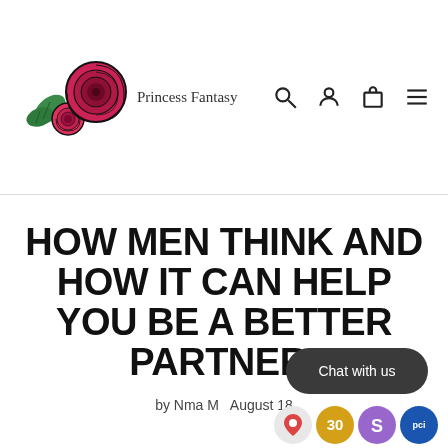[Figure (logo): Princess Fantasy logo with rose flowers and leaves, followed by text 'Princess Fantasy']
[Figure (infographic): Navigation icons: search magnifying glass, user/account icon, shopping bag icon, hamburger menu icon]
HOW MEN THINK AND HOW IT CAN HELP YOU BE A BETTER PARTNER!
by Nma M   August 18
[Figure (infographic): Chat with us dark rounded button overlay]
[Figure (infographic): Bottom row of app icons: Google Maps pin, number 30 badge, Shopify bag icon, PCI shield icon]